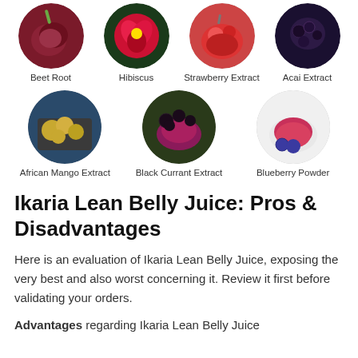[Figure (illustration): Row of circular ingredient images: Beet Root, Hibiscus, Strawberry Extract, Acai Extract]
[Figure (illustration): Row of circular ingredient images: African Mango Extract, Black Currant Extract, Blueberry Powder]
Ikaria Lean Belly Juice: Pros & Disadvantages
Here is an evaluation of Ikaria Lean Belly Juice, exposing the very best and also worst concerning it. Review it first before validating your orders.
Advantages regarding Ikaria Lean Belly Juice